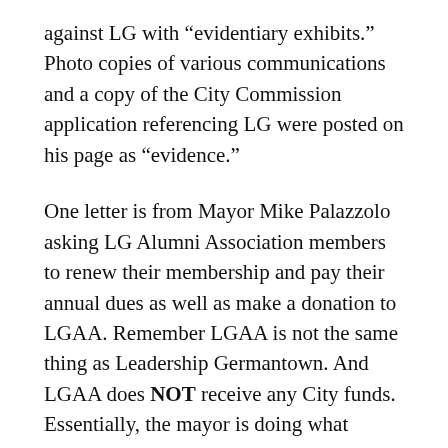against LG with “evidentiary exhibits.” Photo copies of various communications and a copy of the City Commission application referencing LG were posted on his page as “evidence.”
One letter is from Mayor Mike Palazzolo asking LG Alumni Association members to renew their membership and pay their annual dues as well as make a donation to LGAA. Remember LGAA is not the same thing as Leadership Germantown. And LGAA does NOT receive any City funds. Essentially, the mayor is doing what Alderman Massey condones in his opening paragraph on our Country’s founders. The mayor is asking members of a private organization to fund the organization through